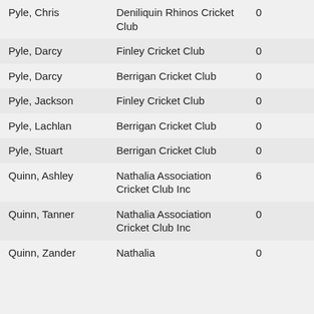| Pyle, Chris | Deniliquin Rhinos Cricket Club | 0 | 7 |
| Pyle, Darcy | Finley Cricket Club | 0 | 0 |
| Pyle, Darcy | Berrigan Cricket Club | 0 | 14 |
| Pyle, Jackson | Finley Cricket Club | 0 | 0 |
| Pyle, Lachlan | Berrigan Cricket Club | 0 | 8 |
| Pyle, Stuart | Berrigan Cricket Club | 0 | 1 |
| Quinn, Ashley | Nathalia Association Cricket Club Inc | 6 | 0 |
| Quinn, Tanner | Nathalia Association Cricket Club Inc | 0 | 0 |
| Quinn, Zander | Nathalia | 0 | 0 |